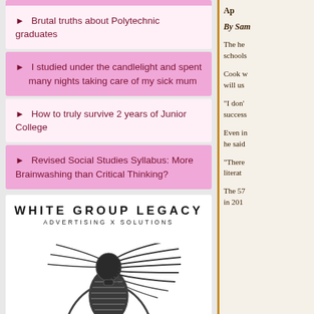► Brutal truths about Polytechnic graduates
► I studied under the candlelight and spent many nights taking care of my sick mum
► How to truly survive 2 years of Junior College
► Revised Social Studies Syllabus: More Brainwashing than Critical Thinking?
[Figure (logo): White Group Legacy – Advertising X Solutions logo with stylized robotic/alien figure]
Ap
By Sam
The he schools
Cook w will us
"I don' success
Even in he said
"There literat
The 57 in 201